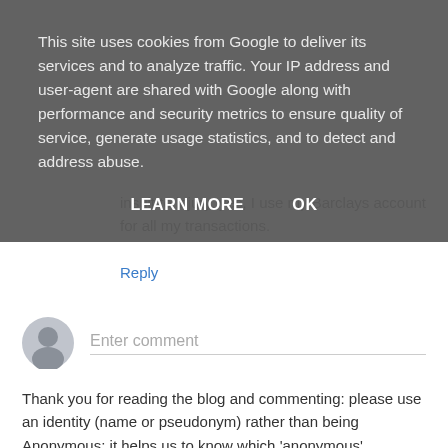This site uses cookies from Google to deliver its services and to analyze traffic. Your IP address and user-agent are shared with Google along with performance and security metrics to ensure quality of service, generate usage statistics, and to detect and address abuse.
LEARN MORE    OK
insult to injury, yes, I use my Barclays account for all my transactions.
Reply
[Figure (illustration): User avatar placeholder circle icon for comment input]
Enter comment
Thank you for reading the blog and commenting: please use an identity (name or pseudonym) rather than being Anonymous; it helps us to know which 'anonymous' comments are from the same person to avoid confusion. Comments are moderated to avoid spam, but will be published as